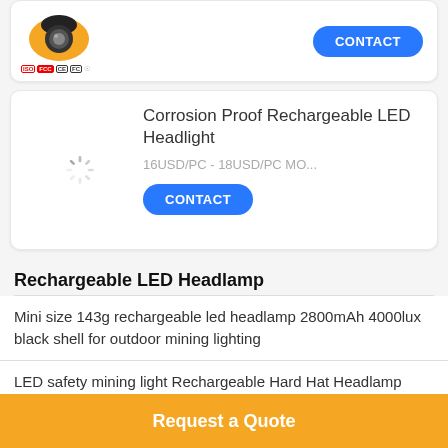[Figure (photo): Partial view of a headlamp product with certification icons (ISO, FCC, CE, FC) and a CONTACT button]
[Figure (photo): Loading spinner image placeholder for Corrosion Proof Rechargeable LED Headlight product]
Corrosion Proof Rechargeable LED Headlight
16USD/PC - 18USD/PC MO...
Rechargeable LED Headlamp
Mini size 143g rechargeable led headlamp 2800mAh 4000lux black shell for outdoor mining lighting
LED safety mining light Rechargeable Hard Hat Headlamp 15000lux 6.8Ah CE approved
LED portable mining light 4000LUX, waterproof Robust and
Request a Quote